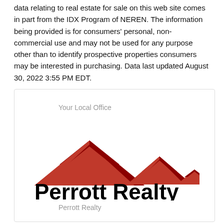data relating to real estate for sale on this web site comes in part from the IDX Program of NEREN. The information being provided is for consumers' personal, non-commercial use and may not be used for any purpose other than to identify prospective properties consumers may be interested in purchasing. Data last updated August 30, 2022 3:55 PM EDT.
Your Local Office
[Figure (logo): Perrott Realty logo with red house rooftop silhouettes above bold black text reading 'Perrott Realty']
Perrott Realty